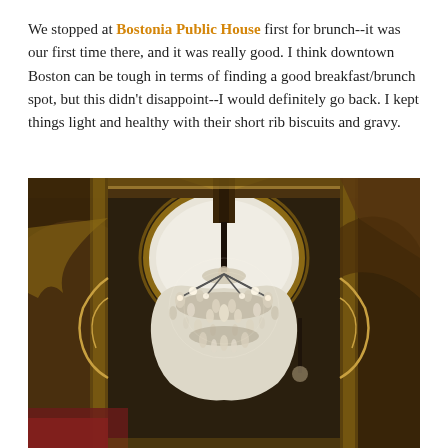We stopped at Bostonia Public House first for brunch--it was our first time there, and it was really good. I think downtown Boston can be tough in terms of finding a good breakfast/brunch spot, but this didn't disappoint--I would definitely go back. I kept things light and healthy with their short rib biscuits and gravy.
[Figure (photo): Interior photo looking up at an ornate gilded ceiling with elaborate plasterwork framing a central oval skylight. A large crystal chandelier hangs from the center. The decor features gold and brown tones with intricate decorative moldings and arches typical of a grand historic restaurant or theater interior.]